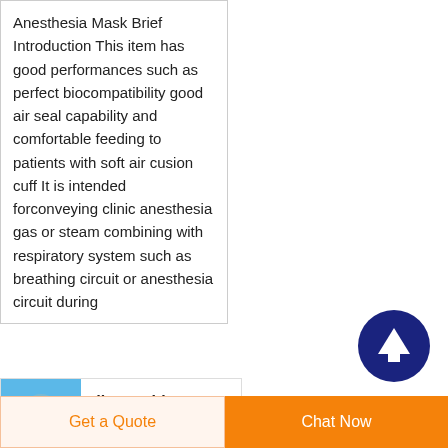Anesthesia Mask Brief Introduction This item has good performances such as perfect biocompatibility good air seal capability and comfortable feeding to patients with soft air cusion cuff It is intended forconveying clinic anesthesia gas or steam combining with respiratory system such as breathing circuit or anesthesia circuit during
[Figure (illustration): Dark navy blue circular scroll-to-top button with white upward arrow]
[Figure (photo): Small product thumbnail image of a disposable PVC anesthesia mask on blue background]
disposable pvc anesthesia
Get a Quote
Chat Now